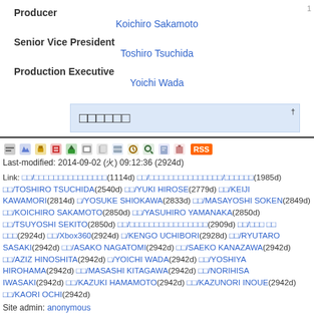Producer
Koichiro Sakamoto
Senior Vice President
Toshiro Tsuchida
Production Executive
Yoichi Wada
□□□□□□ †
Last-modified: 2014-09-02 (火) 09:12:36 (2924d)
Link: [various links]
Site admin: anonymous
PukiWiki 1.5.1 © 2001-2016 PukiWiki Development Team. Powered by PHP 5.6.30. HTML generation: 0.148...